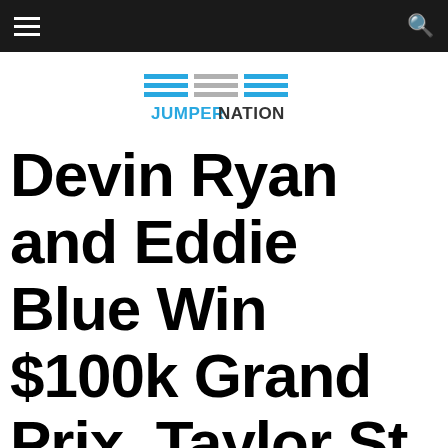Navigation bar with menu and search icons
[Figure (logo): Jumper Nation logo with blue and gray horizontal lines above the text JUMPERNATION in bold with JUMPER in blue and NATION in dark gray]
Devin Ryan and Eddie Blue Win $100k Grand Prix, Taylor St. Jacque Still Eq Queen at Indoor Pheonix...